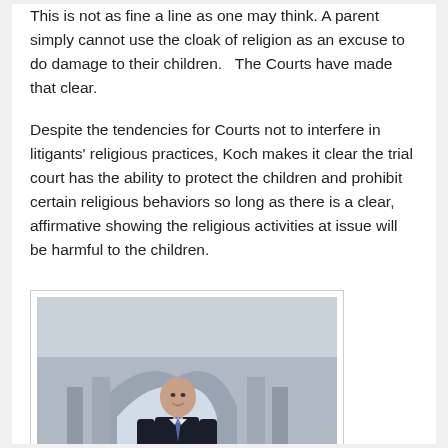This is not as fine a line as one may think. A parent simply cannot use the cloak of religion as an excuse to do damage to their children.   The Courts have made that clear.
Despite the tendencies for Courts not to interfere in litigants' religious practices, Koch makes it clear the trial court has the ability to protect the children and prohibit certain religious behaviors so long as there is a clear, affirmative showing the religious activities at issue will be harmful to the children.
[Figure (photo): Professional headshot of a bald man in a dark suit and tie, standing in front of a building with arched architecture.]